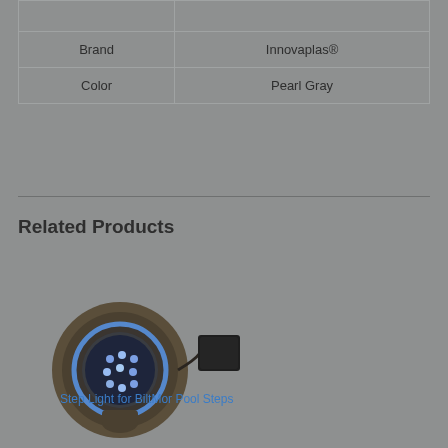|  |  |
| Brand | Innovaplas® |
| Color | Pearl Gray |
Related Products
[Figure (photo): A step light fixture for pool steps showing a round bronze-colored light unit with blue LED and a black rectangular transformer/connector box connected by a cord.]
Step Light for BiltMor Pool Steps